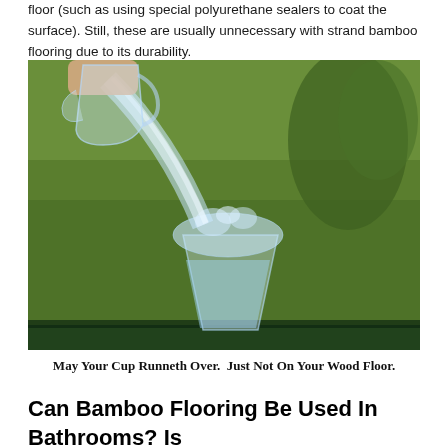floor (such as using special polyurethane sealers to coat the surface). Still, these are usually unnecessary with strand bamboo flooring due to its durability.
[Figure (photo): A hand pouring water from a glass pitcher into a glass cup outdoors, with green grass in the background. Water is overflowing over the rim of the cup.]
May Your Cup Runneth Over.  Just Not On Your Wood Floor.
Can Bamboo Flooring Be Used In Bathrooms? Is